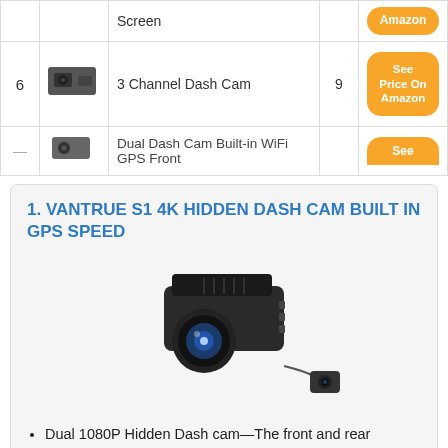| # | Image | Product | Rating | Button |
| --- | --- | --- | --- | --- |
|  |  | Screen |  | Amazon |
| 6 | [image] | 3 Channel Dash Cam | 9 | See Price On Amazon |
| — | [image] | Dual Dash Cam Built-in WiFi GPS Front |  | See |
1. VANTRUE S1 4K HIDDEN DASH CAM BUILT IN GPS SPEED
[Figure (photo): Photo of Vantrue S1 4K hidden dash cam showing main camera unit with large lens and a small rear camera unit connected by cable]
Dual 1080P Hidden Dash cam – The front and rear cameras simultaneously capture